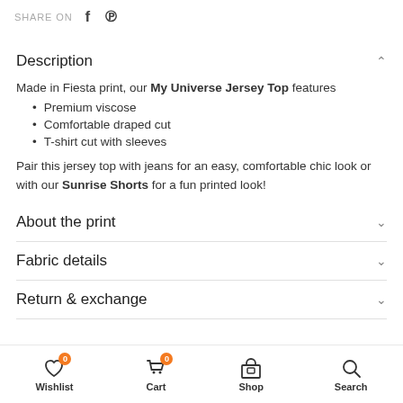SHARE ON
Description
Made in Fiesta print, our My Universe Jersey Top features
Premium viscose
Comfortable draped cut
T-shirt cut with sleeves
Pair this jersey top with jeans for an easy, comfortable chic look or with our Sunrise Shorts for a fun printed look!
About the print
Fabric details
Return & exchange
Wishlist 0 | Cart 0 | Shop | Search